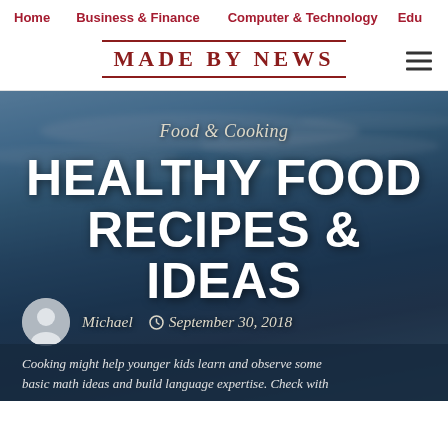Home  Business & Finance  Computer & Technology  Edu
MADE BY NEWS
[Figure (photo): Full-width hero background showing a sky with wispy clouds and a snowy mountainous landscape with blue-grey tones]
Food & Cooking
HEALTHY FOOD RECIPES & IDEAS
Michael  September 30, 2018
Cooking might help younger kids learn and observe some basic math ideas and build language expertise. Check with